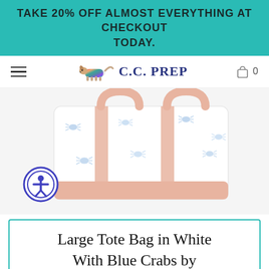TAKE 20% OFF ALMOST EVERYTHING AT CHECKOUT TODAY.
[Figure (logo): C.C. PREP brand logo with a running dog illustration in colorful plaid pattern, navigation bar with hamburger menu and shopping cart icon showing 0 items]
[Figure (photo): Large white tote bag with blue crab pattern and pink/salmon trim straps and base on white background]
Large Tote Bag in White With Blue Crabs by Crabberrie